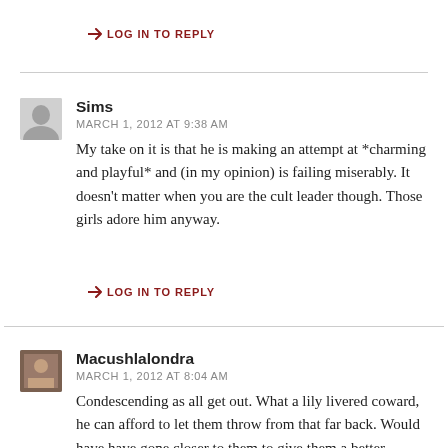→ LOG IN TO REPLY
Sims
MARCH 1, 2012 AT 9:38 AM
My take on it is that he is making an attempt at *charming and playful* and (in my opinion) is failing miserably. It doesn't matter when you are the cult leader though. Those girls adore him anyway.
→ LOG IN TO REPLY
Macushlalondra
MARCH 1, 2012 AT 8:04 AM
Condescending as all get out. What a lily livered coward, he can afford to let them throw from that far back. Would have have gone closer to them to give them a better